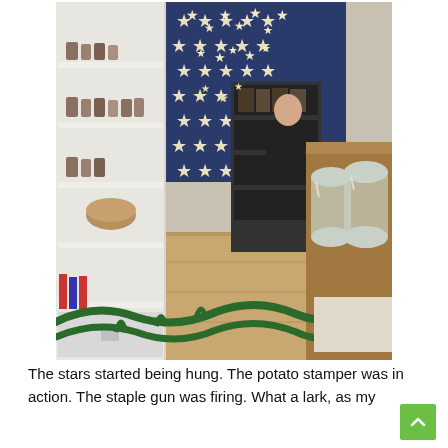[Figure (photo): Interior of a shop decorated for Christmas. White shelving on the left filled with small items, wooden shelving unit in the centre background with glass containers. A woman in dark clothing stands behind a wooden counter on the right. Star-shaped decorations hang from above and a blue star-patterned wall is visible in the background. Green garland on the floor in the foreground. Wooden floor visible.]
The stars started being hung. The potato stamper was in action. The staple gun was firing. What a lark, as my